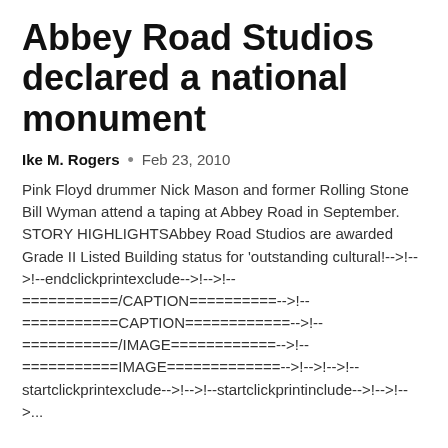Abbey Road Studios declared a national monument
Ike M. Rogers  •  Feb 23, 2010
Pink Floyd drummer Nick Mason and former Rolling Stone Bill Wyman attend a taping at Abbey Road in September. STORY HIGHLIGHTSAbbey Road Studios are awarded Grade II Listed Building status for 'outstanding cultural!-->!-->!--endclickprintexclude-->!-->!--===========/CAPTION==========-->!--===========CAPTION============-->!--===========/IMAGE============-->!--===========IMAGE=============-->!-->!-->!--startclickprintexclude-->!-->!--startclickprintinclude-->!-->!-->...